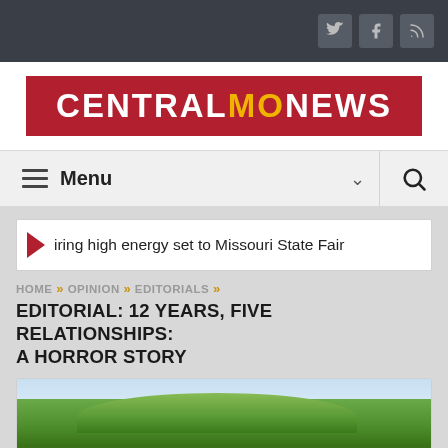Top navigation bar with social icons (Twitter, Facebook, RSS)
[Figure (logo): Central MO News logo — red background with white text CENTRAL, yellow MO, white text NEWS]
Menu
iring high energy set to Missouri State Fair
HOME » OPINION » EDITORIALS »
EDITORIAL: 12 YEARS, FIVE RELATIONSHIPS: A HORROR STORY
[Figure (photo): Outdoor photo showing trees with green foliage against a light sky]